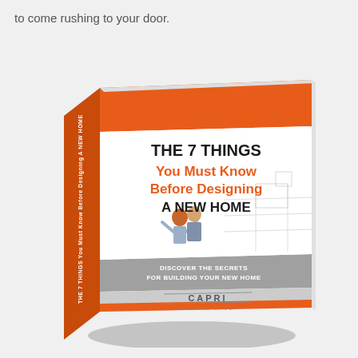to come rushing to your door.
[Figure (photo): A 3D rendered book titled 'THE 7 THINGS You Must Know Before Designing A NEW HOME' published by Capri Building Group, shown in perspective view with orange cover and spine, white background with architectural sketch imagery and two people looking at plans. Subtitle reads 'DISCOVER THE SECRETS FOR BUILDING YOUR NEW HOME']